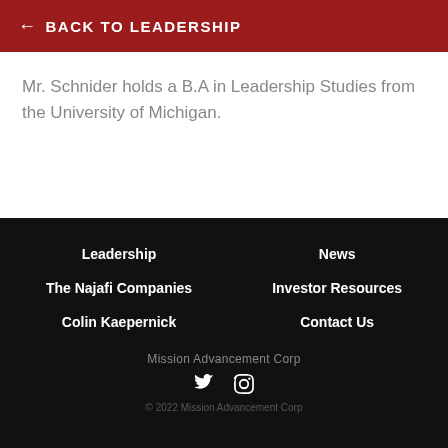← BACK TO LEADERSHIP
Mr. Schnider holds a B.A in Leadership Studies from the University of Michigan.
Leadership
News
The Najafi Companies
Investor Resources
Colin Kaepernick
Contact Us
Mission Advancement Corp
© 2022 Mission Advancement Corp